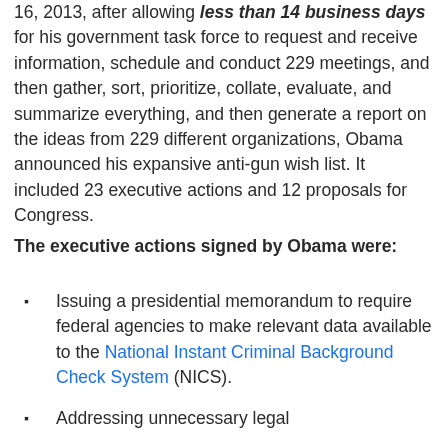16, 2013, after allowing less than 14 business days for his government task force to request and receive information, schedule and conduct 229 meetings, and then gather, sort, prioritize, collate, evaluate, and summarize everything, and then generate a report on the ideas from 229 different organizations, Obama announced his expansive anti-gun wish list. It included 23 executive actions and 12 proposals for Congress.
The executive actions signed by Obama were:
Issuing a presidential memorandum to require federal agencies to make relevant data available to the National Instant Criminal Background Check System (NICS).
Addressing unnecessary legal